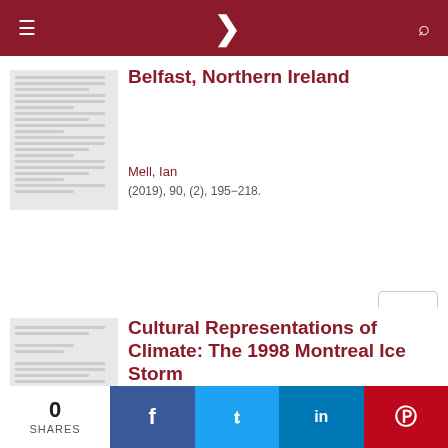Navigation bar with menu, logo, and search
Belfast, Northern Ireland
Mell, Ian
(2019), 90, (2), 195−218.
Cultural Representations of Climate: The 1998 Montreal Ice Storm
Kannenberg, Christina
(2016), 61, (2), 7−27.
0 SHARES | Facebook | Twitter | LinkedIn | Pinterest